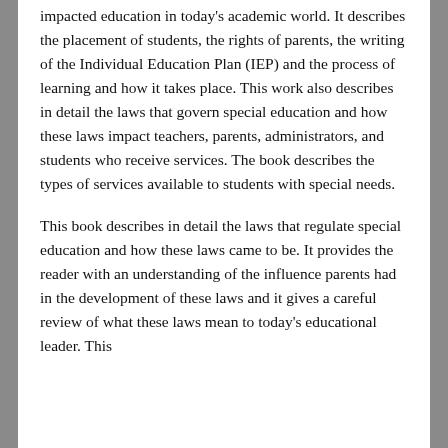impacted education in today's academic world. It describes the placement of students, the rights of parents, the writing of the Individual Education Plan (IEP) and the process of learning and how it takes place. This work also describes in detail the laws that govern special education and how these laws impact teachers, parents, administrators, and students who receive services. The book describes the types of services available to students with special needs.
This book describes in detail the laws that regulate special education and how these laws came to be. It provides the reader with an understanding of the influence parents had in the development of these laws and it gives a careful review of what these laws mean to today's educational leader. This